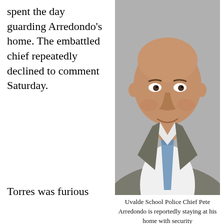spent the day guarding Arredondo's home. The embattled chief repeatedly declined to comment Saturday.
[Figure (photo): Headshot portrait of Uvalde School Police Chief Pete Arredondo, a bald Hispanic man in a grey suit jacket, white dress shirt, and blue tie, smiling slightly against a grey background.]
Uvalde School Police Chief Pete Arredondo is reportedly staying at his home with security
Torres was furious